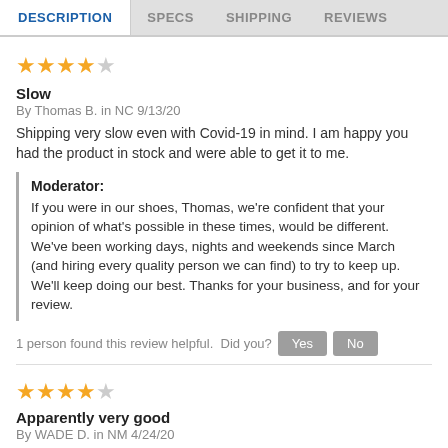DESCRIPTION | SPECS | SHIPPING | REVIEWS
[Figure (other): 4 out of 5 stars rating]
Slow
By Thomas B. in NC 9/13/20
Shipping very slow even with Covid-19 in mind. I am happy you had the product in stock and were able to get it to me.
Moderator: If you were in our shoes, Thomas, we're confident that your opinion of what's possible in these times, would be different. We've been working days, nights and weekends since March (and hiring every quality person we can find) to try to keep up. We'll keep doing our best. Thanks for your business, and for your review.
1 person found this review helpful. Did you? Yes No
[Figure (other): 4 out of 5 stars rating]
Apparently very good
By WADE D. in NM 4/24/20